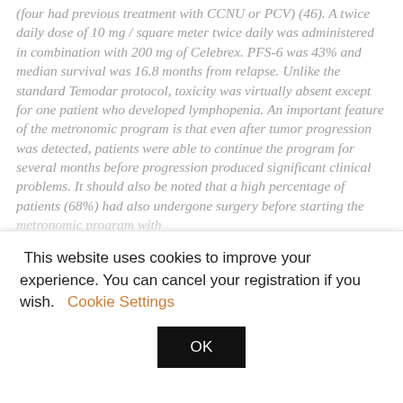(four had previous treatment with CCNU or PCV) (46). A twice daily dose of 10 mg / square meter twice daily was administered in combination with 200 mg of Celebrex. PFS-6 was 43% and median survival was 16.8 months from relapse. Unlike the standard Temodar protocol, toxicity was virtually absent except for one patient who developed lymphopenia. An important feature of the metronomic program is that even after tumor progression was detected, patients were able to continue the program for several months before progression produced significant clinical problems. It should also be noted that a high percentage of patients (68%) had also undergone surgery before starting the metronomic program with
This website uses cookies to improve your experience. You can cancel your registration if you wish.  Cookie Settings  OK